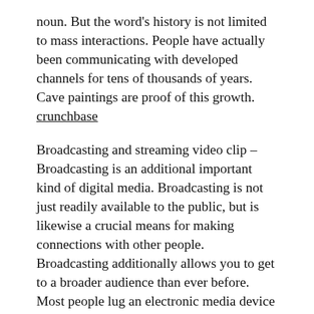noun. But the word's history is not limited to mass interactions. People have actually been communicating with developed channels for tens of thousands of years. Cave paintings are proof of this growth. crunchbase
Broadcasting and streaming video clip – Broadcasting is an additional important kind of digital media. Broadcasting is not just readily available to the public, but is likewise a crucial means for making connections with other people. Broadcasting additionally allows you to get to a broader audience than ever before. Most people lug an electronic media device with them anywhere they go. Most people make use of digital communication while functioning, travelling, and also even when they're out shopping. Streaming programs as well as playing video games in your home means media is a needed part of daily life.